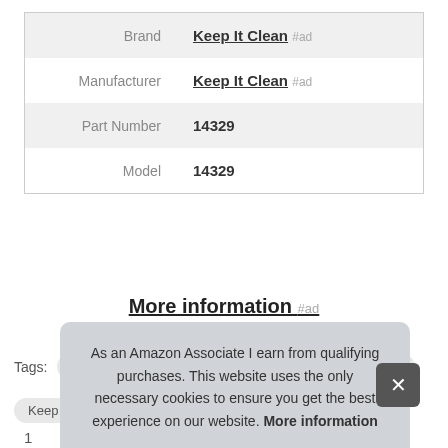|  |  |
| --- | --- |
| Brand | Keep It Clean #ad |
| Manufacturer | Keep It Clean #ad |
| Part Number | 14329 |
| Model | 14329 |
More information #ad
Tags: Design Engineering  KABLE KONTROL  Keadic  Keep It Clean  Maxx Flex  Spectre Performance
As an Amazon Associate I earn from qualifying purchases. This website uses the only necessary cookies to ensure you get the best experience on our website. More information